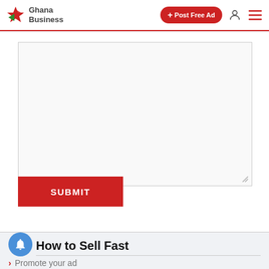Ghana Business — navigation bar with Post Free Ad button
[Figure (screenshot): Large textarea input box for ad description with resize handle, inside a white card area]
SUBMIT
How to Sell Fast
Promote your ad